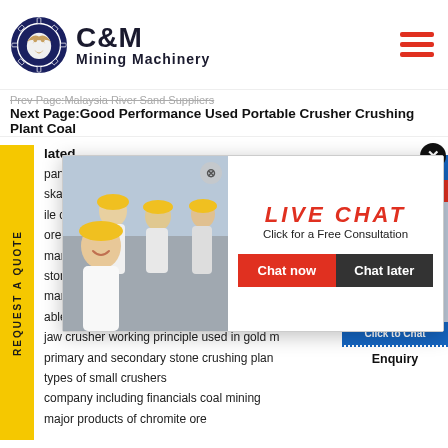[Figure (logo): C&M Mining Machinery logo with circular eagle emblem]
Prev Page:Malaysia River Sand Suppliers
Next Page:Good Performance Used Portable Crusher Crushing Plant Coal
Related (truncated list):
company in po...
skar gener...
ile coal cr...
ore cusher plant
many sand crusher and screening
stone powder production machine
manufacturers in india for sale
able roll crusher to buy in new zealand
jaw crusher working principle used in gold m...
primary and secondary stone crushing plan...
types of small crushers
company including financials coal mining
major products of chromite ore
[Figure (screenshot): Live Chat popup with construction workers image, LIVE CHAT text in red, Click for a Free Consultation, Chat now and Chat later buttons]
[Figure (screenshot): Right panel showing Hours Online text in blue/red, female agent photo, Click to Chat button, and Enquiry label]